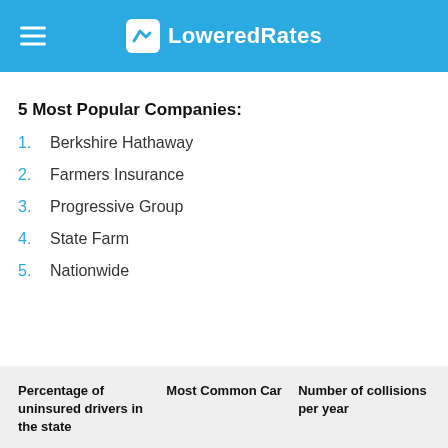LoweredRates
5 Most Popular Companies:
1. Berkshire Hathaway
2. Farmers Insurance
3. Progressive Group
4. State Farm
5. Nationwide
| Percentage of uninsured drivers in the state | Most Common Car | Number of collisions per year |
| --- | --- | --- |